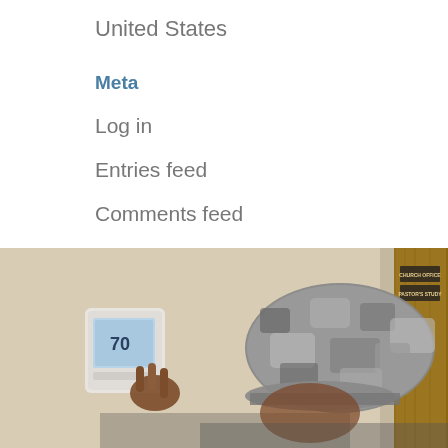United States
Meta
Log in
Entries feed
Comments feed
WordPress.org
[Figure (photo): A person wearing a camouflage cap adjusting a digital thermostat mounted on a beige wall, with a wooden door in the background that has signs reading 'CHURCH OFFICE' and 'PASTOR'S STUDY']